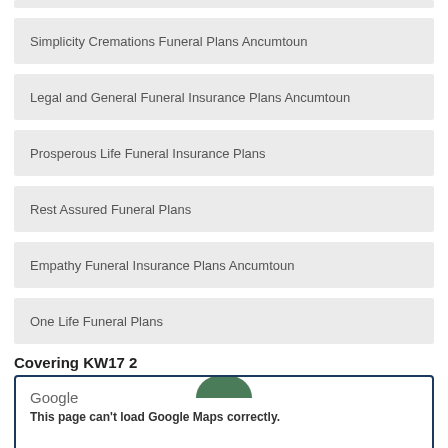Simplicity Cremations Funeral Plans Ancumtoun
Legal and General Funeral Insurance Plans Ancumtoun
Prosperous Life Funeral Insurance Plans
Rest Assured Funeral Plans
Empathy Funeral Insurance Plans Ancumtoun
One Life Funeral Plans
Covering KW17 2
[Figure (map): Google Maps embed showing error: This page can't load Google Maps correctly.]